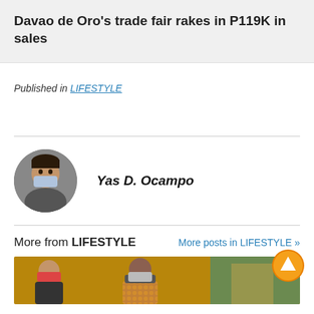Davao de Oro's trade fair rakes in P119K in sales
Published in LIFESTYLE
Yas D. Ocampo
More from LIFESTYLE   More posts in LIFESTYLE »
[Figure (photo): Preview image of a lifestyle article showing people wearing masks]